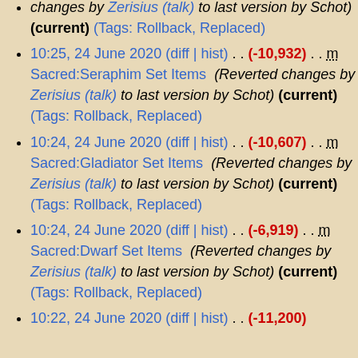changes by Zerisius (talk) to last version by Schot) (current) (Tags: Rollback, Replaced)
10:25, 24 June 2020 (diff | hist) . . (-10,932) . . m Sacred:Seraphim Set Items (Reverted changes by Zerisius (talk) to last version by Schot) (current) (Tags: Rollback, Replaced)
10:24, 24 June 2020 (diff | hist) . . (-10,607) . . m Sacred:Gladiator Set Items (Reverted changes by Zerisius (talk) to last version by Schot) (current) (Tags: Rollback, Replaced)
10:24, 24 June 2020 (diff | hist) . . (-6,919) . . m Sacred:Dwarf Set Items (Reverted changes by Zerisius (talk) to last version by Schot) (current) (Tags: Rollback, Replaced)
10:22, 24 June 2020 (diff | hist) . . (-11,200)